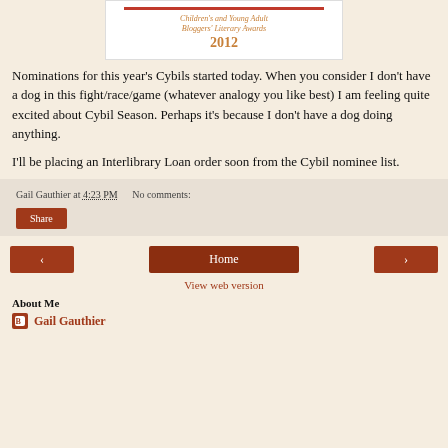[Figure (logo): Children's and Young Adult Bloggers' Literary Awards 2012 logo in a white box with orange/gold text]
Nominations for this year's Cybils started today. When you consider I don't have a dog in this fight/race/game (whatever analogy you like best) I am feeling quite excited about Cybil Season. Perhaps it's because I don't have a dog doing anything.
I'll be placing an Interlibrary Loan order soon from the Cybil nominee list.
Gail Gauthier at 4:23 PM   No comments:
Share
Home
View web version
About Me
Gail Gauthier